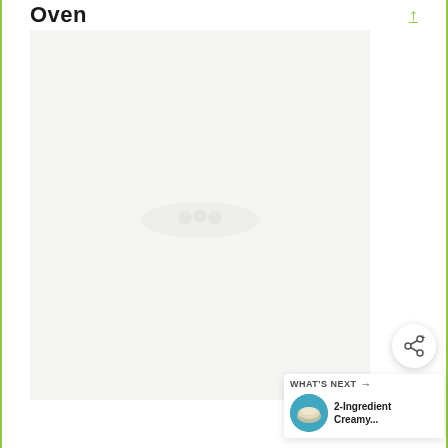Oven
[Figure (photo): Large light-colored food preparation photo area, mostly white/cream background with faint food imagery visible]
[Figure (illustration): Share button - circular white button with share icon (network/share symbol with plus)]
[Figure (photo): What's Next promotional widget showing '2-Ingredient Creamy...' with a thumbnail of a blue bowl with creamy food]